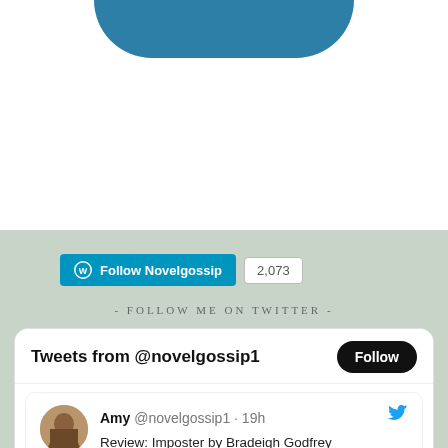[Figure (screenshot): Top portion of a webpage showing a teal/dark blue rounded button at the top (partially visible), white background]
[Figure (screenshot): WordPress Follow Novelgossip button with follower count 2,073]
- FOLLOW ME ON TWITTER -
[Figure (screenshot): Twitter widget showing Tweets from @novelgossip1 with a Follow button, and a tweet by Amy @novelgossip1 19h: Review: Imposter by Bradeigh Godfrey, with link novelgossip.com/2022/08/21/rev... and a card showing novelgossip.com and Review: Imposter by]